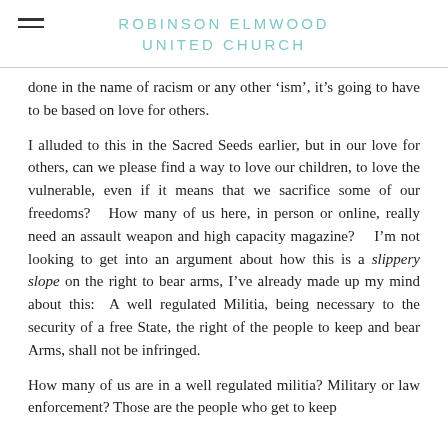ROBINSON ELMWOOD UNITED CHURCH
done in the name of racism or any other ‘ism’, it’s going to have to be based on love for others.
I alluded to this in the Sacred Seeds earlier, but in our love for others, can we please find a way to love our children, to love the vulnerable, even if it means that we sacrifice some of our freedoms?   How many of us here, in person or online, really need an assault weapon and high capacity magazine?    I’m not looking to get into an argument about how this is a slippery slope on the right to bear arms, I’ve already made up my mind about this:  A well regulated Militia, being necessary to the security of a free State, the right of the people to keep and bear Arms, shall not be infringed.
How many of us are in a well regulated militia? Military or law enforcement? Those are the people who get to keep